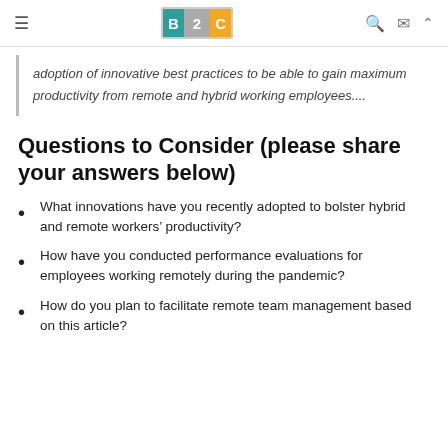≡  B2C  🔍 ✉ ∧
adoption of innovative best practices to be able to gain maximum productivity from remote and hybrid working employees....
Questions to Consider (please share your answers below)
What innovations have you recently adopted to bolster hybrid and remote workers' productivity?
How have you conducted performance evaluations for employees working remotely during the pandemic?
How do you plan to facilitate remote team management based on this article?